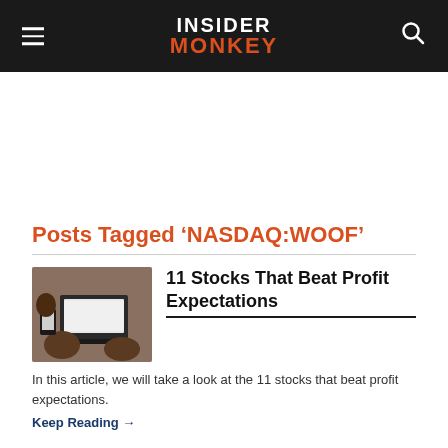INSIDER MONKEY
Posts Tagged ‘NASDAQ:WOOF’
[Figure (photo): Person using a laptop and smartphone, viewed from behind/side]
11 Stocks That Beat Profit Expectations
In this article, we will take a look at the 11 stocks that beat profit expectations.
Keep Reading →